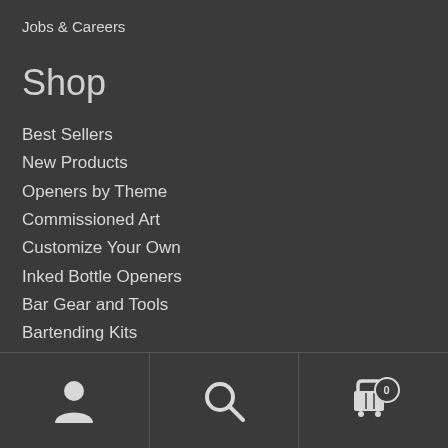Jobs & Careers
Shop
Best Sellers
New Products
Openers by Theme
Commissioned Art
Customize Your Own
Inked Bottle Openers
Bar Gear and Tools
Bartending Kits
Behind the Bar
Bar Supplies
[Figure (screenshot): Bottom navigation toolbar with user account icon, search icon, and shopping cart icon with badge showing 0]